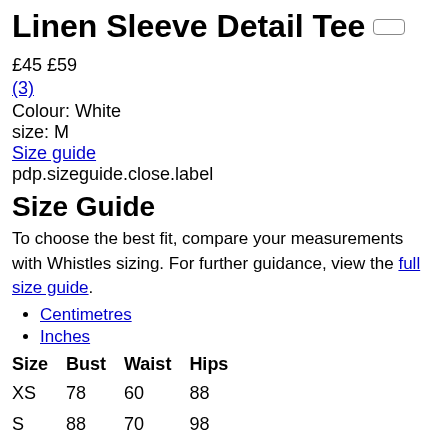Linen Sleeve Detail Tee
£45 £59
(3)
Colour: White
size: M
Size guide
pdp.sizeguide.close.label
Size Guide
To choose the best fit, compare your measurements with Whistles sizing. For further guidance, view the full size guide.
Centimetres
Inches
| Size | Bust | Waist | Hips |
| --- | --- | --- | --- |
| XS | 78 | 60 | 88 |
| S | 88 | 70 | 98 |
| M | 98 | 80 | 108 |
| L | 103 | 85 | 113 |